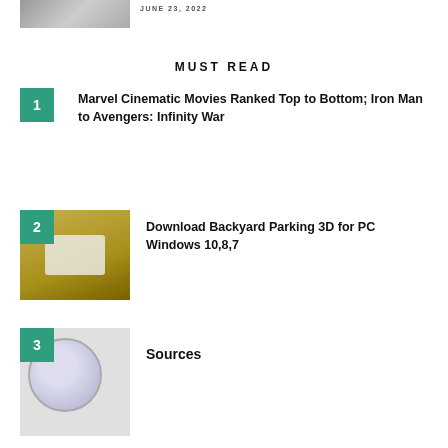[Figure (photo): Partial image at top left, appears to be a person in dark clothing]
JUNE 23, 2022
MUST READ
Marvel Cinematic Movies Ranked Top to Bottom; Iron Man to Avengers: Infinity War
Download Backyard Parking 3D for PC Windows 10,8,7
Sources